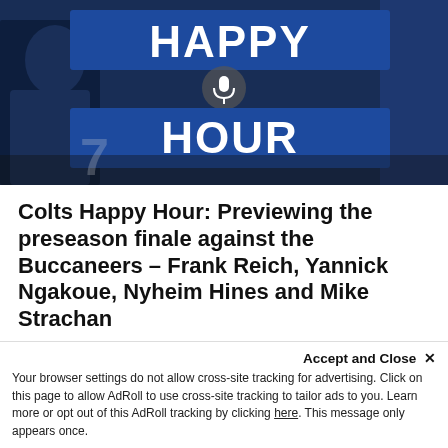[Figure (photo): Colts Happy Hour podcast promotional image with athletes in blue uniforms and bold white text reading HAPPY HOUR on a dark blue background with a microphone icon]
Colts Happy Hour: Previewing the preseason finale against the Buccaneers – Frank Reich, Yannick Ngakoue, Nyheim Hines and Mike Strachan
It's game week! Colts Happy Hour with JMV gives you a full preview of the preseason finale with the Colts and the Buccaneers on Saturday! On this week's show, we hear from head coach Frank Reich about what he is expecting from this g...up in the last p...season and gearing up for the
Accept and Close ✕
Your browser settings do not allow cross-site tracking for advertising. Click on this page to allow AdRoll to use cross-site tracking to tailor ads to you. Learn more or opt out of this AdRoll tracking by clicking here. This message only appears once.